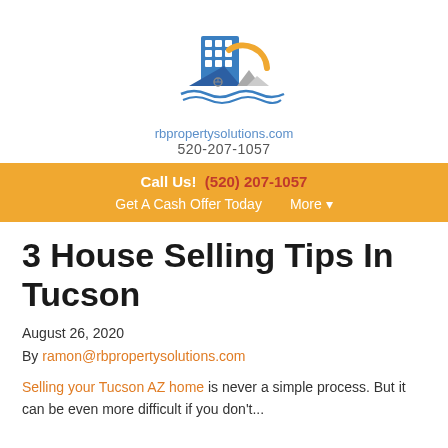[Figure (logo): RB Property Solutions logo: building with grid windows, mountains, sun arc, water wave underneath, circular text 'We Buy Houses In Arizona']
rbpropertysolutions.com
520-207-1057
Call Us!  (520) 207-1057
Get A Cash Offer Today   More ▾
3 House Selling Tips In Tucson
August 26, 2020
By ramon@rbpropertysolutions.com
Selling your Tucson AZ home is never a simple process. But it can be even more difficult if you don't...